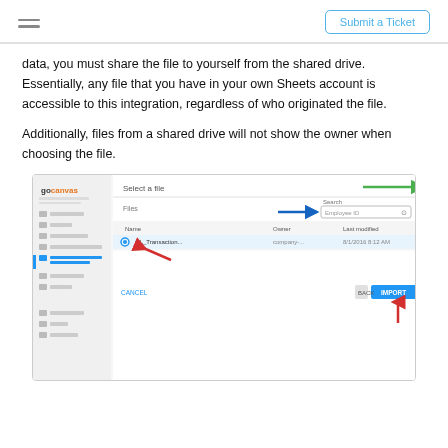Submit a Ticket
data, you must share the file to yourself from the shared drive. Essentially, any file that you have in your own Sheets account is accessible to this integration, regardless of who originated the file.
Additionally, files from a shared drive will not show the owner when choosing the file.
[Figure (screenshot): GoCanvas application screenshot showing a 'Select a file' dialog with navigation sidebar, file list showing one file selected, Search field with 'Employee ID' text, green arrow pointing to top-right corner, blue arrow pointing to search field, red arrow pointing to selected file, red arrow pointing to IMPORT button. CANCEL and IMPORT buttons visible at bottom right.]